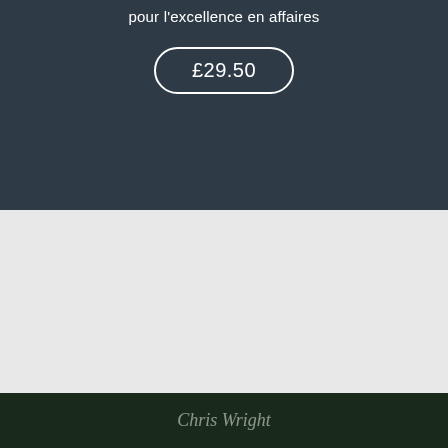pour l'excellence en affaires
£29.50
This website uses cookies. By clicking Accept, you agree to the storing of cookies on your device to enhance site navigation, analyze site usage and assist in our marketing efforts.
Find out more
Accept